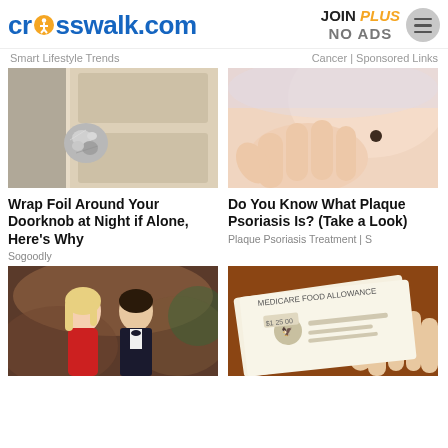crosswalk.com | JOIN PLUS NO ADS
Smart Lifestyle Trends
Cancer | Sponsored Links
[Figure (photo): Door knob wrapped in aluminum foil on a white door]
[Figure (photo): Close-up of a person's hand with a mole on their arm]
Wrap Foil Around Your Doorknob at Night if Alone, Here's Why
Do You Know What Plaque Psoriasis Is? (Take a Look)
Sogoodly
Plaque Psoriasis Treatment | S
[Figure (photo): Couple in formal attire at a gala event - woman in red dress and man in tuxedo]
[Figure (photo): Medicare food allowance card being held by someone]